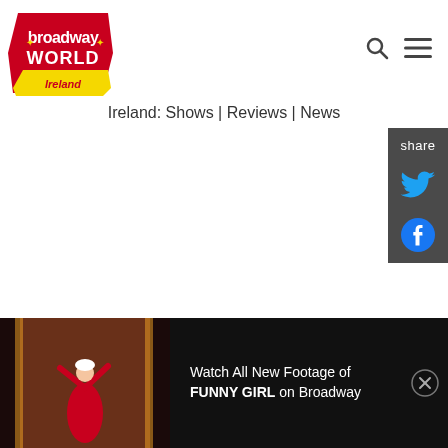[Figure (logo): BroadwayWorld Ireland logo - red and yellow banner style logo with text 'broadway WORLD' and 'Ireland' on yellow ribbon]
[Figure (other): Search icon (magnifying glass) and hamburger menu icon in top right navigation]
Ireland: Shows | Reviews | News
[Figure (other): Share sidebar with Twitter and Facebook icons on dark grey background]
[Figure (screenshot): Video bar at bottom showing performer in red dress on stage with play button overlay. Text reads: Watch All New Footage of FUNNY GIRL on Broadway. Close (X) button on right.]